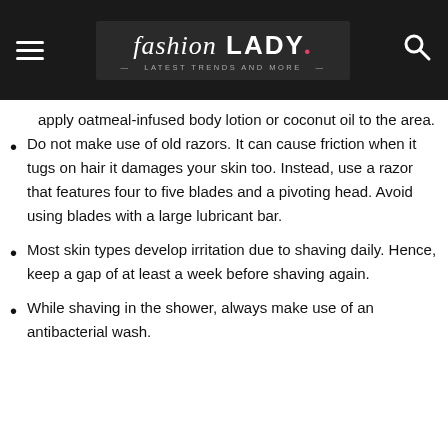fashion LADY · Latest Trends and More
apply oatmeal-infused body lotion or coconut oil to the area.
Do not make use of old razors. It can cause friction when it tugs on hair it damages your skin too. Instead, use a razor that features four to five blades and a pivoting head. Avoid using blades with a large lubricant bar.
Most skin types develop irritation due to shaving daily. Hence, keep a gap of at least a week before shaving again.
While shaving in the shower, always make use of an antibacterial wash.